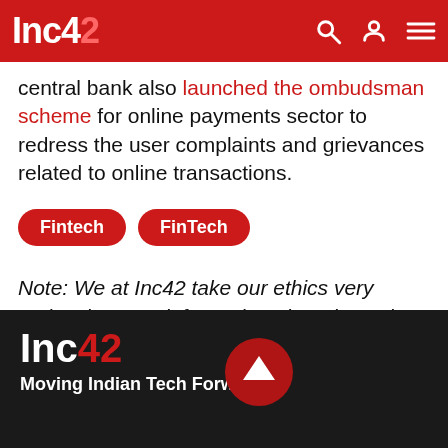Inc42
central bank also launched the ombudsman scheme for online payments sector to redress the user complaints and grievances related to online transactions.
Fintech
FinTech
Note: We at Inc42 take our ethics very seriously. More information about it can be found here.
Inc42 Moving Indian Tech Forward